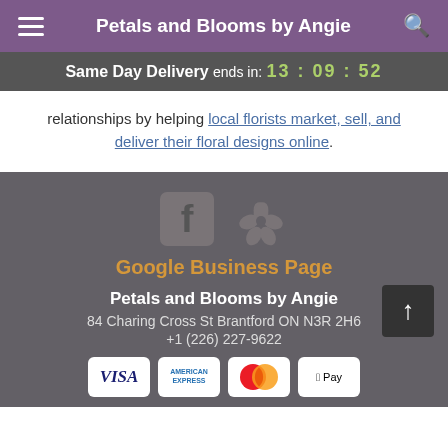Petals and Blooms by Angie
Same Day Delivery ends in: 13 : 09 : 52
relationships by helping local florists market, sell, and deliver their floral designs online.
[Figure (logo): Facebook and Yelp social media icons in dark grey]
Google Business Page
Petals and Blooms by Angie
84 Charing Cross St Brantford ON N3R 2H6
+1 (226) 227-9622
[Figure (other): Payment method icons: Visa, American Express, Mastercard, Apple Pay]